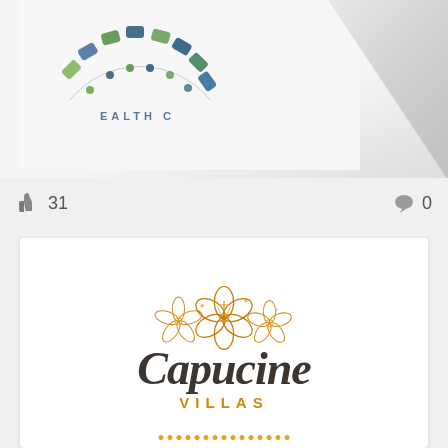[Figure (logo): Partial health-related logo on white card with folded corner, showing text 'EALTH C' in a circular arrangement with colored segments]
31
0
[Figure (logo): Capucine Villas logo with golden hibiscus flowers above script text 'Capucine' in dark brown and 'VILLAS' in gold lettering, with decorative dot border at bottom]